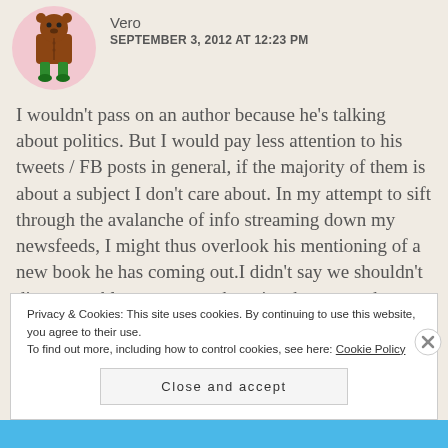[Figure (illustration): Cartoon avatar of a brown bear/monster character standing on green legs, inside a pink circle background]
Vero
SEPTEMBER 3, 2012 AT 12:23 PM
I wouldn't pass on an author because he's talking about politics. But I would pay less attention to his tweets / FB posts in general, if the majority of them is about a subject I don't care about. In my attempt to sift through the avalanche of info streaming down my newsfeeds, I might thus overlook his mentioning of a new book he has coming out.I didn't say we shouldn't discuss problems we care about just because others don't have the same
Privacy & Cookies: This site uses cookies. By continuing to use this website, you agree to their use.
To find out more, including how to control cookies, see here: Cookie Policy
Close and accept